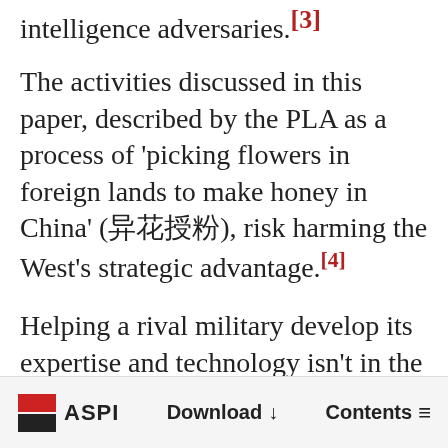intelligence adversaries.[3]
The activities discussed in this paper, described by the PLA as a process of 'picking flowers in foreign lands to make honey in China' (异花授粉), risk harming the West's strategic advantage.[4]
Helping a rival military develop its expertise and technology isn't in the national interest, yet it's not clear that Western universities and governments are fully aware of this phenomenon.[5] Some universities have failed to respond to
ASPI  Download  Contents